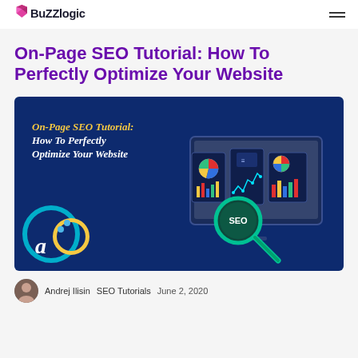BuzzLogic
On-Page SEO Tutorial: How To Perfectly Optimize Your Website
[Figure (illustration): Dark navy blue banner image with gold italic text reading 'On-Page SEO Tutorial: How To Perfectly Optimize Your Website'. Right side shows a computer monitor with SEO analytics dashboards and a magnifying glass with 'SEO' text. Bottom left has teal and yellow circular decorative elements and a stylized 'a' logo.]
Andrej Ilisin   SEO Tutorials   June 2, 2020